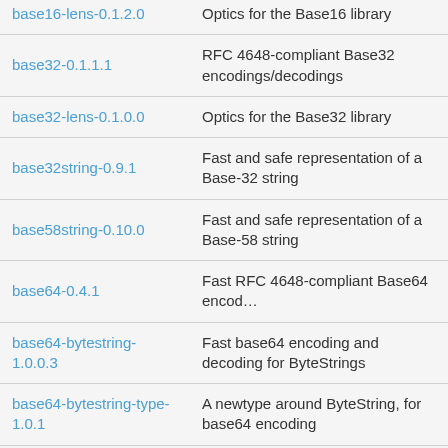| Package | Description |
| --- | --- |
| base16-lens-0.1.2.0 | Optics for the Base16 library |
| base32-0.1.1.1 | RFC 4648-compliant Base32 encodings/decodings |
| base32-lens-0.1.0.0 | Optics for the Base32 library |
| base32string-0.9.1 | Fast and safe representation of a Base-32 string |
| base58string-0.10.0 | Fast and safe representation of a Base-58 string |
| base64-0.4.1 | Fast RFC 4648-compliant Base64 encod… |
| base64-bytestring-1.0.0.3 | Fast base64 encoding and decoding for ByteStrings |
| base64-bytestring-type-1.0.1 | A newtype around ByteString, for base64 encoding |
| base64-lens-0.3.0 | Optics for the Base64 library |
| base64-string-0.2 | Base64 implementation for String's |